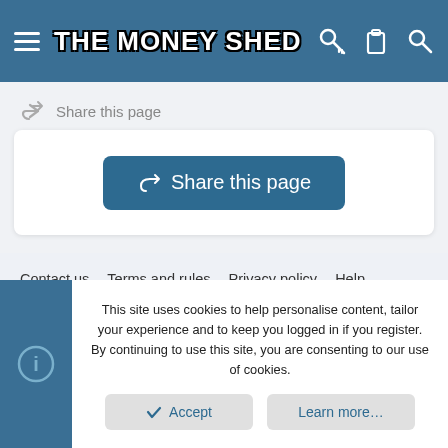THE MONEY SHED
Share this page
Share this page
Contact us  Terms and rules  Privacy policy  Help  Home
Community platform by XenForo® © 2010-2022 XenForo Ltd. | Style and add-ons by ThemeHouse | Media embeds via s9e/MediaSites
This site uses cookies to help personalise content, tailor your experience and to keep you logged in if you register.
By continuing to use this site, you are consenting to our use of cookies.